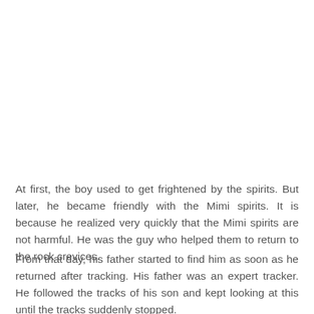At first, the boy used to get frightened by the spirits. But later, he became friendly with the Mimi spirits. It is because he realized very quickly that the Mimi spirits are not harmful. He was the guy who helped them to return to the rock crevices.
From that day, his father started to find him as soon as he returned after tracking. His father was an expert tracker. He followed the tracks of his son and kept looking at this until the tracks suddenly stopped.